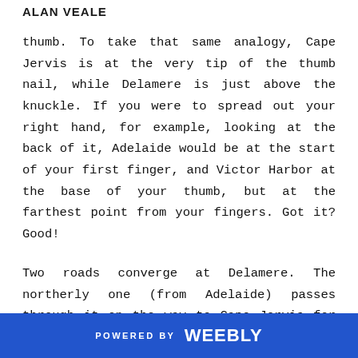ALAN VEALE
thumb. To take that same analogy, Cape Jervis is at the very tip of the thumb nail, while Delamere is just above the knuckle. If you were to spread out your right hand, for example, looking at the back of it, Adelaide would be at the start of your first finger, and Victor Harbor at the base of your thumb, but at the farthest point from your fingers. Got it? Good!
Two roads converge at Delamere. The northerly one (from Adelaide) passes through it on the way to Cape Jervis for the ferry, while the southerly one (Range Road)
POWERED BY weebly